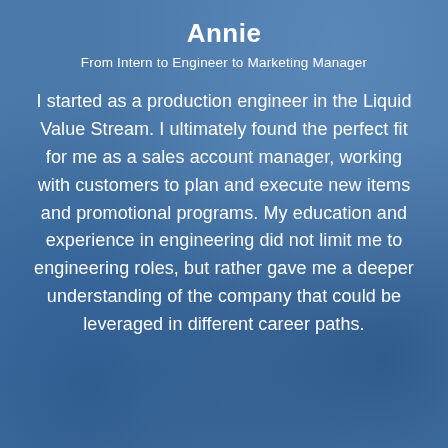Annie
From Intern to Engineer to Marketing Manager
I started as a production engineer in the Liquid Value Stream. I ultimately found the perfect fit for me as a sales account manager, working with customers to plan and execute new items and promotional programs. My education and experience in engineering did not limit me to engineering roles, but rather gave me a deeper understanding of the company that could be leveraged in different career paths.